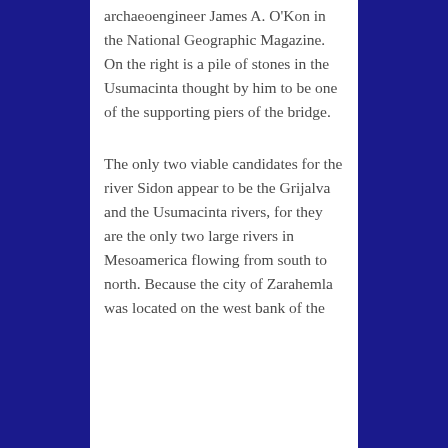archaeoengineer James A. O'Kon in the National Geographic Magazine. On the right is a pile of stones in the Usumacinta thought by him to be one of the supporting piers of the bridge.
The only two viable candidates for the river Sidon appear to be the Grijalva and the Usumacinta rivers, for they are the only two large rivers in Mesoamerica flowing from south to north. Because the city of Zarahemla was located on the west bank of the